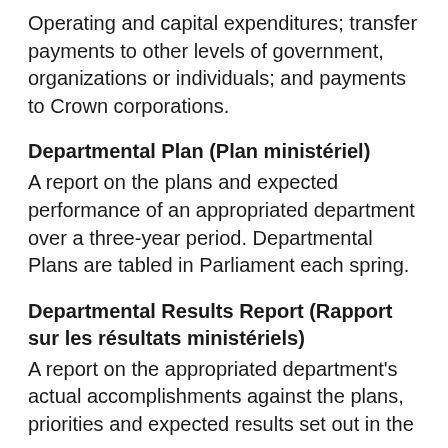Operating and capital expenditures; transfer payments to other levels of government, organizations or individuals; and payments to Crown corporations.
Departmental Plan (Plan ministériel)
A report on the plans and expected performance of an appropriated department over a three-year period. Departmental Plans are tabled in Parliament each spring.
Departmental Results Report (Rapport sur les résultats ministériels)
A report on the appropriated department's actual accomplishments against the plans, priorities and expected results set out in the